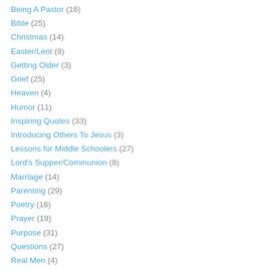Being A Pastor (16)
Bible (25)
Christmas (14)
Easter/Lent (9)
Getting Older (3)
Grief (25)
Heaven (4)
Humor (11)
Inspiring Quotes (33)
Introducing Others To Jesus (3)
Lessons for Middle Schoolers (27)
Lord's Supper/Communion (8)
Marriage (14)
Parenting (29)
Poetry (16)
Prayer (19)
Purpose (31)
Questions (27)
Real Men (4)
Real Women (4)